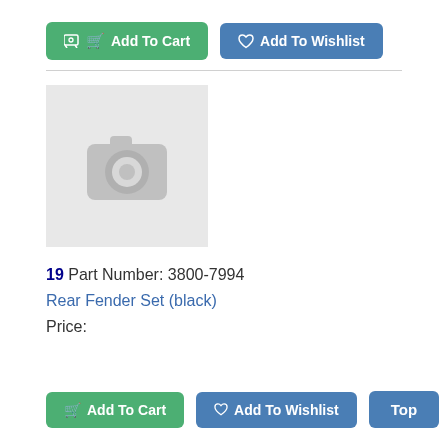[Figure (other): Add To Cart (green button) and Add To Wishlist (blue button) at top]
[Figure (photo): Product image placeholder with camera icon on light gray background]
19 Part Number: 3800-7994
Rear Fender Set (black)
Price:
[Figure (other): Add To Cart (green), Add To Wishlist (blue), Top (blue) buttons at bottom]